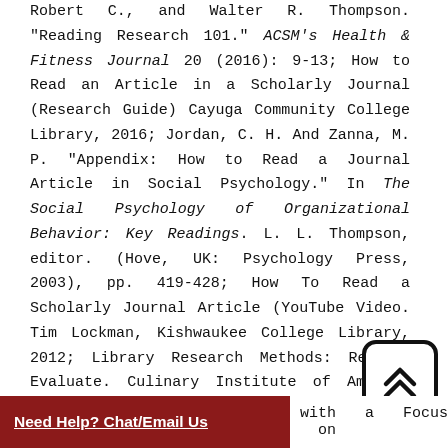Robert C., and Walter R. Thompson. "Reading Research 101." ACSM's Health & Fitness Journal 20 (2016): 9-13; How to Read an Article in a Scholarly Journal (Research Guide) Cayuga Community College Library, 2016; Jordan, C. H. And Zanna, M. P. "Appendix: How to Read a Journal Article in Social Psychology." In The Social Psychology of Organizational Behavior: Key Readings. L. L. Thompson, editor. (Hove, UK: Psychology Press, 2003), pp. 419-428; How To Read a Scholarly Journal Article (YouTube Video. Tim Lockman, Kishwaukee College Library, 2012; Library Research Methods: Read & Evaluate. Culinary Institute of America Library, 2016; Van Lacum, Edwin B., Miriam A. ... in J. Goedhart. "A ... with  a  Focus  on
[Figure (other): Scroll-to-top button with double chevron up arrow icon, rounded square border]
Need Help? Chat/Email Us